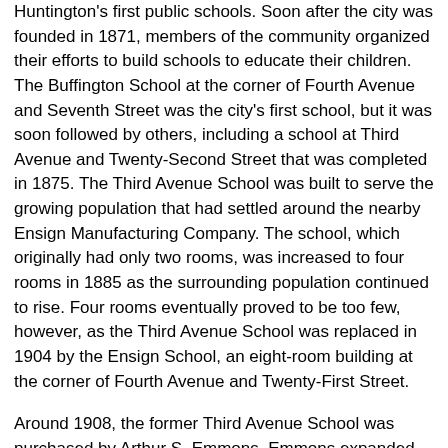Huntington's first public schools. Soon after the city was founded in 1871, members of the community organized their efforts to build schools to educate their children. The Buffington School at the corner of Fourth Avenue and Seventh Street was the city's first school, but it was soon followed by others, including a school at Third Avenue and Twenty-Second Street that was completed in 1875. The Third Avenue School was built to serve the growing population that had settled around the nearby Ensign Manufacturing Company. The school, which originally had only two rooms, was increased to four rooms in 1885 as the surrounding population continued to rise. Four rooms eventually proved to be too few, however, as the Third Avenue School was replaced in 1904 by the Ensign School, an eight-room building at the corner of Fourth Avenue and Twenty-First Street.
Around 1908, the former Third Avenue School was purchased by Arthur S. Emmons. Emmons expanded the building and converted it into a hotel, known variously as the Arthur Emmons Hotel and the Hotel Arthur. Born in New York in 1852, Emmons was a member of one the most prominent families of Huntington's early history. His father, Delos W. Emmons, was the brother-in-law and business agent of Collis Huntington, who sent Emmons to his new town in order to sell its first lots in 1871. Arthur Emmons came to Huntington with his father, where he worked with the C&O railroad for nearly twenty years, before starting his own business, a well-known hotel.